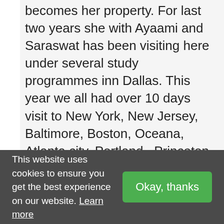becomes her property. For last two years she with Ayaami and Saraswat has been visiting here under several study programmes inn Dallas. This year we all had over 10 days visit to New York, New Jersey, Baltimore, Boston, Oceana, Atlanta city, Portland , Princeton University, Cambridge University, University of
This website uses cookies to ensure you get the best experience on our website. Learn more